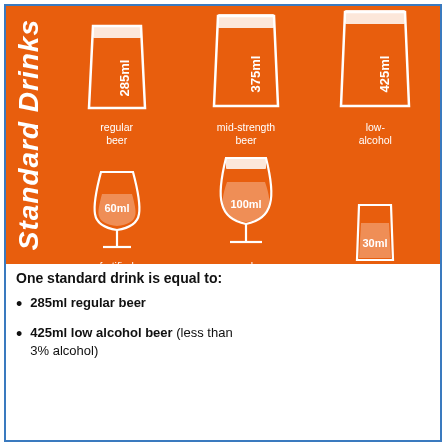[Figure (infographic): Orange infographic titled 'Standard Drinks' showing 6 drink vessels with volume labels: 285ml regular beer (pint glass), 375ml mid-strength beer (pint glass), 425ml low-alcohol (pint glass), 60ml fortified wine (wine glass), 100ml regular wine (wine glass), 30ml spirits (shot glass)]
One standard drink is equal to:
285ml regular beer
425ml low alcohol beer (less than 3% alcohol)